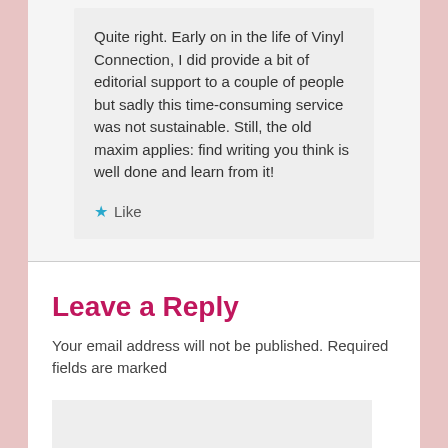Quite right. Early on in the life of Vinyl Connection, I did provide a bit of editorial support to a couple of people but sadly this time-consuming service was not sustainable. Still, the old maxim applies: find writing you think is well done and learn from it!
Like
Leave a Reply
Your email address will not be published. Required fields are marked